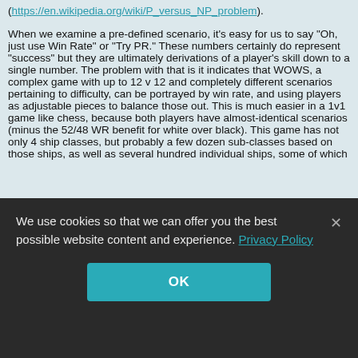(https://en.wikipedia.org/wiki/P_versus_NP_problem).

When we examine a pre-defined scenario, it's easy for us to say "Oh, just use Win Rate" or "Try PR." These numbers certainly do represent "success" but they are ultimately derivations of a player's skill down to a single number. The problem with that is it indicates that WOWS, a complex game with up to 12 v 12 and completely different scenarios pertaining to difficulty, can be portrayed by win rate, and using players as adjustable pieces to balance those out. This is much easier in a 1v1 game like chess, because both players have almost-identical scenarios (minus the 52/48 WR benefit for white over black). This game has not only 4 ship classes, but probably a few dozen sub-classes based on those ships, as well as several hundred individual ships, some of which
We use cookies so that we can offer you the best possible website content and experience. Privacy Policy
OK